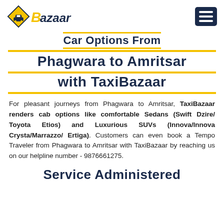TaxiBazaar logo and navigation menu
Car Options From Phagwara to Amritsar with TaxiBazaar
For pleasant journeys from Phagwara to Amritsar, TaxiBazaar renders cab options like comfortable Sedans (Swift Dzire/ Toyota Etios) and Luxurious SUVs (Innova/Innova Crysta/Marrazzo/ Ertiga). Customers can even book a Tempo Traveler from Phagwara to Amritsar with TaxiBazaar by reaching us on our helpline number - 9876661275.
Service Administered